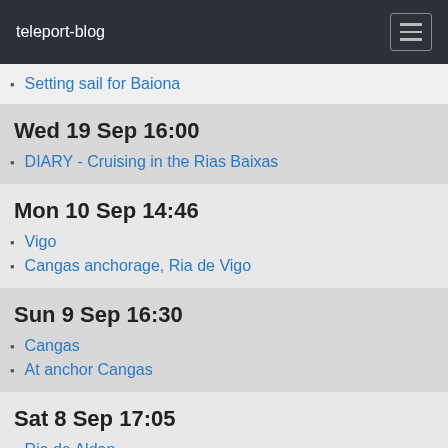teleport-blog
Setting sail for Baiona
Wed 19 Sep 16:00
DIARY - Cruising in the Rias Baixas
Mon 10 Sep 14:46
Vigo
Cangas anchorage, Ria de Vigo
Sun 9 Sep 16:30
Cangas
At anchor Cangas
Sat 8 Sep 17:05
Ria de Aldan
Aldan anchorage, Ria de Aldan
Fri 7 Sep 14:06
Chicos Mark and Austin in Combarro
Combarro
Wed 5 Sep 11:11